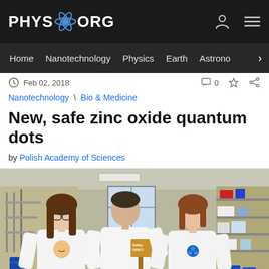PHYS.ORG
Home Nanotechnology Physics Earth Astrono
Feb 02, 2018
Nanotechnology \ Bio & Medicine
New, safe zinc oxide quantum dots
by Polish Academy of Sciences
[Figure (photo): Three young researchers in a laboratory wearing white t-shirts with cartoon designs. They are standing in front of lab equipment and shelving. The middle person holds a wooden sign reading 'Safety FIRST!'.]